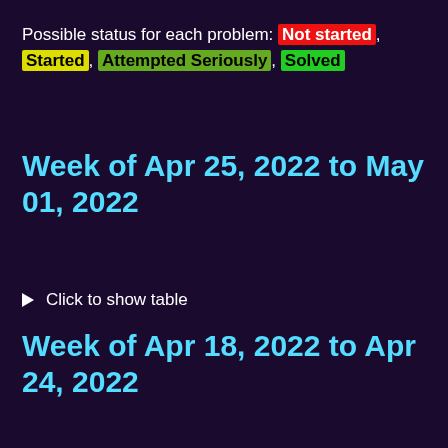Possible status for each problem: Not started, Started, Attempted Seriously, Solved
Week of Apr 25, 2022 to May 01, 2022
▶ Click to show table
Week of Apr 18, 2022 to Apr 24, 2022
▶ Click to show table
Week of Apr 11, 2022 to Apr 17, 2022